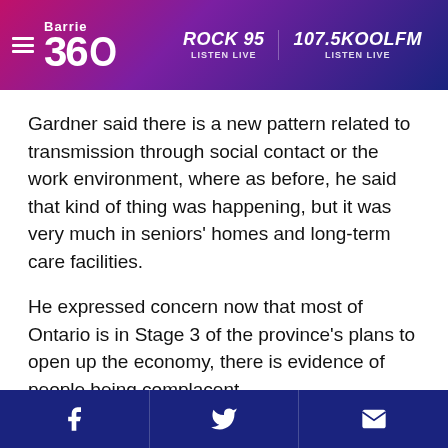Barrie 360 | ROCK 95 LISTEN LIVE | 107.5KOOLFM LISTEN LIVE
Gardner said there is a new pattern related to transmission through social contact or the work environment, where as before, he said that kind of thing was happening, but it was very much in seniors' homes and long-term care facilities.
He expressed concern now that most of Ontario is in Stage 3 of the province's plans to open up the economy, there is evidence of people being complacent.
Gardner suggested people might be engaging in house parties which he noted is a potential for
Facebook | Twitter | Email